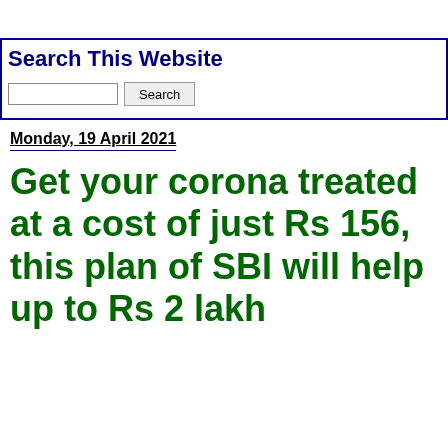Search This Website
Search
Monday, 19 April 2021
Get your corona treated at a cost of just Rs 156, this plan of SBI will help up to Rs 2 lakh